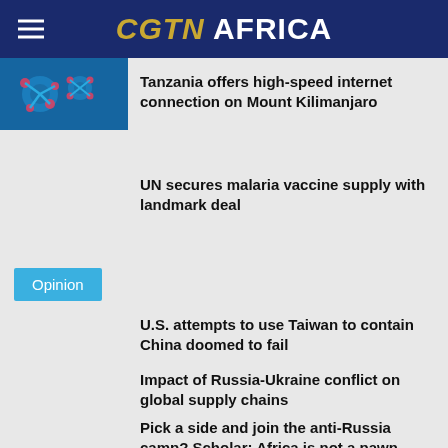CGTN AFRICA
[Figure (photo): Thumbnail image with blue background showing virus/molecule imagery]
Tanzania offers high-speed internet connection on Mount Kilimanjaro
UN secures malaria vaccine supply with landmark deal
Opinion
U.S. attempts to use Taiwan to contain China doomed to fail
Impact of Russia-Ukraine conflict on global supply chains
Pick a side and join the anti-Russia camp? Scholar: Africa is not a pawn